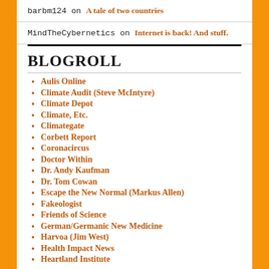barbm124 on A tale of two countries
MindTheCybernetics on Internet is back! And stuff.
BLOGROLL
Aulis Online
Climate Audit (Steve McIntyre)
Climate Depot
Climate, Etc.
Climategate
Corbett Report
Coronacircus
Doctor Within
Dr. Andy Kaufman
Dr. Tom Cowan
Escape the New Normal (Markus Allen)
Fakeologist
Friends of Science
German/Germanic New Medicine
Harvoa (Jim West)
Health Impact News
Heartland Institute